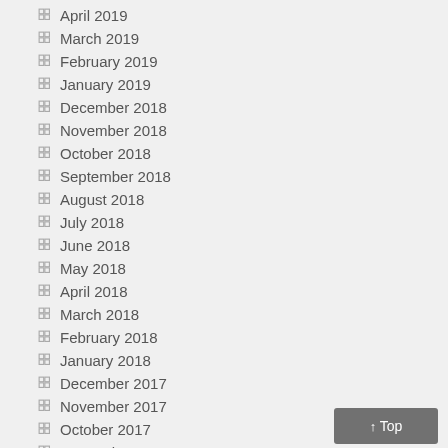April 2019
March 2019
February 2019
January 2019
December 2018
November 2018
October 2018
September 2018
August 2018
July 2018
June 2018
May 2018
April 2018
March 2018
February 2018
January 2018
December 2017
November 2017
October 2017
September 2017
August 2017
June 2017
↑ Top